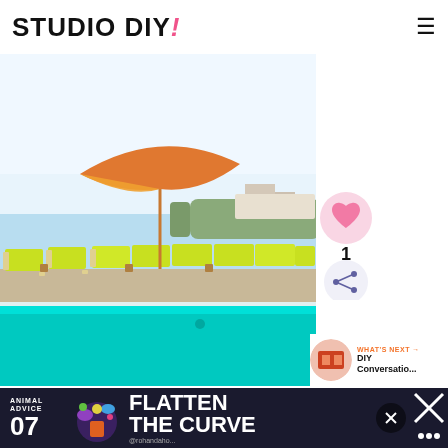STUDIO DIY!
[Figure (photo): Outdoor pool area with bright yellow-green lounge chairs lined up along the poolside, an orange patio umbrella, and a waterfront view with trees and buildings in the background under a clear blue sky.]
[Figure (infographic): Heart/like button icon (pink circle with heart) with count of 1 below it, and a share icon below that]
1
[Figure (infographic): WHAT'S NEXT → DIY Conversatio... thumbnail with circular image showing crafting/DIY supplies]
[Figure (infographic): Advertisement banner: ANIMAL ADVICE 07 FLATTEN THE CURVE with colorful illustration and @rohandaho handle, close X button, and additional icons on right]